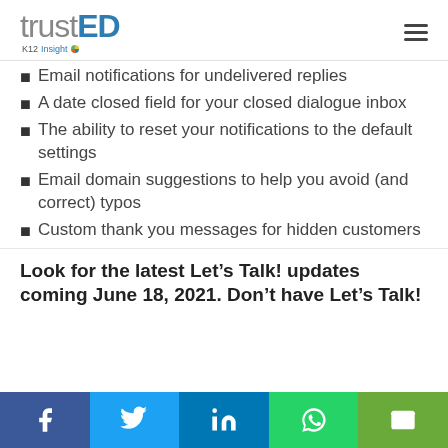trustED K12 Insight
Email notifications for undelivered replies
A date closed field for your closed dialogue inbox
The ability to reset your notifications to the default settings
Email domain suggestions to help you avoid (and correct) typos
Custom thank you messages for hidden customers
Look for the latest Let’s Talk! updates coming June 18, 2021. Don’t have Let’s Talk!